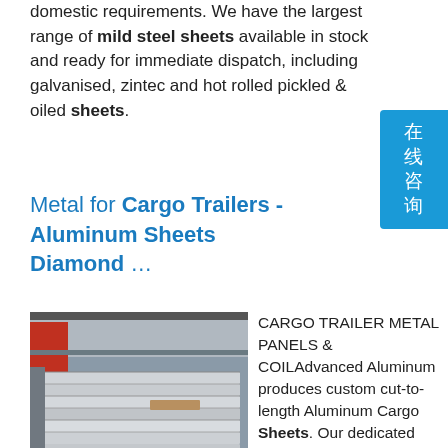domestic requirements. We have the largest range of mild steel sheets available in stock and ready for immediate dispatch, including galvanised, zintec and hot rolled pickled & oiled sheets.
[Figure (illustration): Blue/cyan decorative chat button with Chinese characters reading 在线咨询 (online consultation)]
Metal for Cargo Trailers - Aluminum Sheets Diamond ...
[Figure (photo): Photo of large metal sheets stacked in an industrial warehouse or facility, viewed at an angle showing the layered sheets with a red structure in background]
CARGO TRAILER METAL PANELS & COILAdvanced Aluminum produces custom cut-to-length Aluminum Cargo Sheets. Our dedicated cargo sheet cutting line is the key to producing your order in a timely and accurate manner. As an option, sheets can also be laminated with a protective film to help protect the surface from scratches during your manufacturing process.sp.info buy Cold rolled steel coil ST12 - high quality ...very high quality cold rolled steel